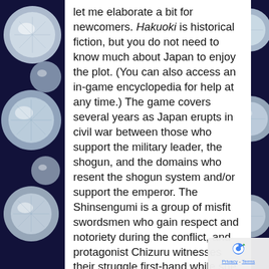[Figure (illustration): Dark blue background with diamond/gem decorations on left and right sides of the page]
let me elaborate a bit for newcomers. Hakuoki is historical fiction, but you do not need to know much about Japan to enjoy the plot. (You can also access an in-game encyclopedia for help at any time.) The game covers several years as Japan erupts in civil war between those who support the military leader, the shogun, and the domains who resent the shogun system and/or support the emperor. The Shinsengumi is a group of misfit swordsmen who gain respect and notoriety during the conflict, and protagonist Chizuru witnesses their struggle first-hand while she discovers the Shinsengumi's biggest secret. If you're not interested in historical fiction, don't worry; Hakuoki includes many supernatural elements that will appeal to Western fans. Plus, a good number of the decision points are not obvious as to who it will trigger a scene with. If you don't
[Figure (logo): Google reCAPTCHA badge with Privacy and Terms links]